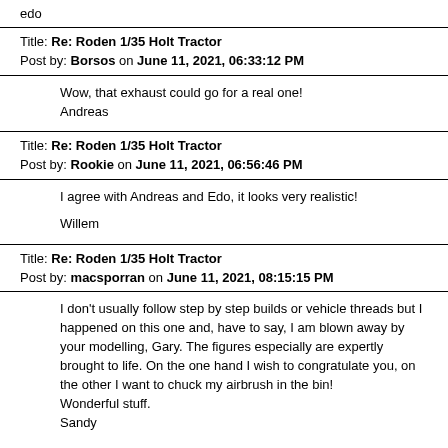edo
Title: Re: Roden 1/35 Holt Tractor
Post by: Borsos on June 11, 2021, 06:33:12 PM
Wow, that exhaust could go for a real one!
Andreas
Title: Re: Roden 1/35 Holt Tractor
Post by: Rookie on June 11, 2021, 06:56:46 PM
I agree with Andreas and Edo, it looks very realistic!

Willem
Title: Re: Roden 1/35 Holt Tractor
Post by: macsporran on June 11, 2021, 08:15:15 PM
I don't usually follow step by step builds or vehicle threads but I happened on this one and, have to say, I am blown away by your modelling, Gary. The figures especially are expertly brought to life. On the one hand I wish to congratulate you, on the other I want to chuck my airbrush in the bin!
Wonderful stuff.
Sandy